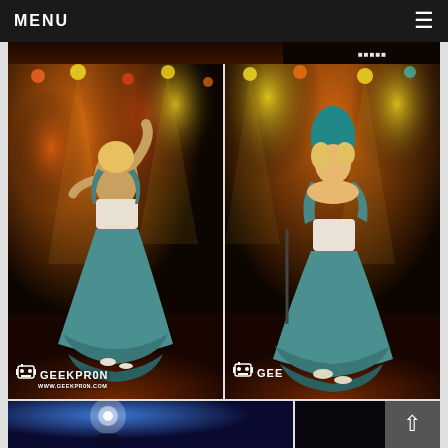MENU
[Figure (photo): Partially visible cropped top strip of a previous concert/stage photo with dark background]
[Figure (photo): Stage performance photo: performer in teal/blue ruffled dress and white corset viewed from behind, dancing under orange and colored stage lighting, GEEKPR0N watermark at bottom]
[Figure (photo): Stage performance photo: same performer in teal/blue ruffled dress and white corset viewed from front/side, under stage lighting, partially cropped on right, GEEKPR0N watermark at bottom]
[Figure (photo): Partial bottom row left: Blue-lit stage photo, partially cropped]
[Figure (photo): Partial bottom row right: Dark stage photo, partially cropped]